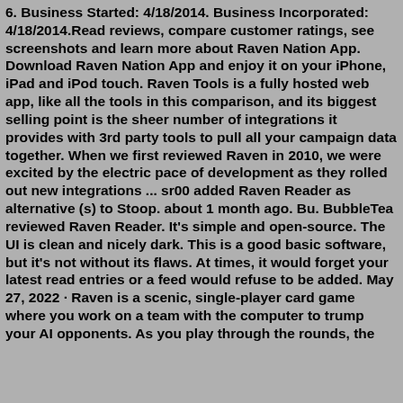6. Business Started: 4/18/2014. Business Incorporated: 4/18/2014.Read reviews, compare customer ratings, see screenshots and learn more about Raven Nation App. Download Raven Nation App and enjoy it on your iPhone, iPad and iPod touch. Raven Tools is a fully hosted web app, like all the tools in this comparison, and its biggest selling point is the sheer number of integrations it provides with 3rd party tools to pull all your campaign data together. When we first reviewed Raven in 2010, we were excited by the electric pace of development as they rolled out new integrations ... sr00 added Raven Reader as alternative (s) to Stoop. about 1 month ago. Bu. BubbleTea reviewed Raven Reader. It's simple and open-source. The UI is clean and nicely dark. This is a good basic software, but it's not without its flaws. At times, it would forget your latest read entries or a feed would refuse to be added. May 27, 2022 · Raven is a scenic, single-player card game where you work on a team with the computer to trump your AI opponents. As you play through the rounds, the